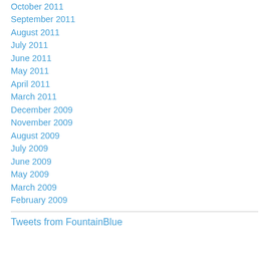October 2011
September 2011
August 2011
July 2011
June 2011
May 2011
April 2011
March 2011
December 2009
November 2009
August 2009
July 2009
June 2009
May 2009
March 2009
February 2009
Tweets from FountainBlue